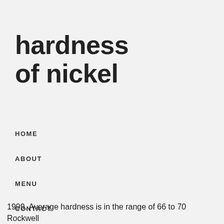hardness of nickel
HOME
ABOUT
MENU
CONTACT
1999. Average hardness is in the range of 66 to 70 Rockwell